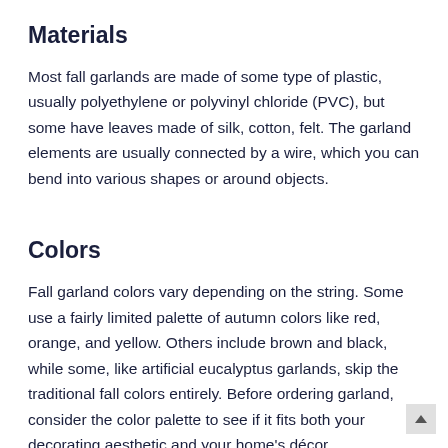Materials
Most fall garlands are made of some type of plastic, usually polyethylene or polyvinyl chloride (PVC), but some have leaves made of silk, cotton, felt. The garland elements are usually connected by a wire, which you can bend into various shapes or around objects.
Colors
Fall garland colors vary depending on the string. Some use a fairly limited palette of autumn colors like red, orange, and yellow. Others include brown and black, while some, like artificial eucalyptus garlands, skip the traditional fall colors entirely. Before ordering garland, consider the color palette to see if it fits both your decorating aesthetic and your home's décor